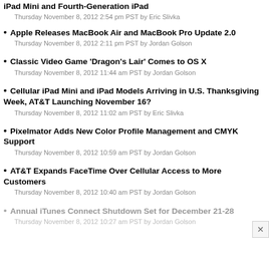iPad Mini and Fourth-Generation iPad
Thursday November 8, 2012 2:54 pm PST by Eric Slivka
Apple Releases MacBook Air and MacBook Pro Update 2.0
Thursday November 8, 2012 2:11 pm PST by Jordan Golson
Classic Video Game 'Dragon's Lair' Comes to OS X
Thursday November 8, 2012 11:44 am PST by Jordan Golson
Cellular iPad Mini and iPad Models Arriving in U.S. Thanksgiving Week, AT&T Launching November 16?
Thursday November 8, 2012 11:02 am PST by Eric Slivka
Pixelmator Adds New Color Profile Management and CMYK Support
Thursday November 8, 2012 10:59 am PST by Jordan Golson
AT&T Expands FaceTime Over Cellular Access to More Customers
Thursday November 8, 2012 10:40 am PST by Jordan Golson
Annual iTunes Connect Shutdown Set for December 21-28
Thursday November 8, 2012 10:27 am PST by Jordan Golson